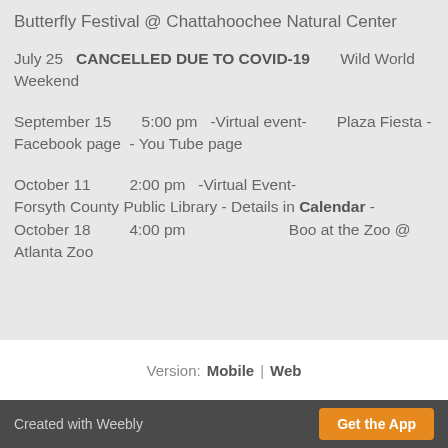Butterfly Festival @ Chattahoochee Natural Center
July 25   CANCELLED DUE TO COVID-19   Wild World Weekend
September 15   5:00 pm   -Virtual event-   Plaza Fiesta - Facebook page - You Tube page
October 11   2:00 pm   -Virtual Event-   Forsyth County Public Library - Details in Calendar -
October 18   4:00 pm   Boo at the Zoo @ Atlanta Zoo
Version: Mobile | Web
Created with Weebly  Get the App